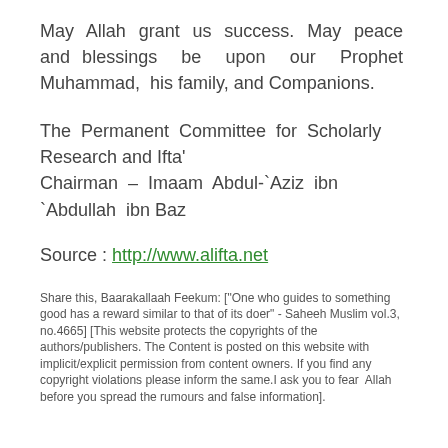May Allah grant us success. May peace and blessings be upon our Prophet Muhammad, his family, and Companions.
The Permanent Committee for Scholarly Research and Ifta'
Chairman – Imaam Abdul-`Aziz ibn `Abdullah ibn Baz
Source : http://www.alifta.net
Share this, Baarakallaah Feekum: ["One who guides to something good has a reward similar to that of its doer" - Saheeh Muslim vol.3, no.4665] [This website protects the copyrights of the authors/publishers. The Content is posted on this website with implicit/explicit permission from content owners. If you find any copyright violations please inform the same.I ask you to fear Allah before you spread the rumours and false information].